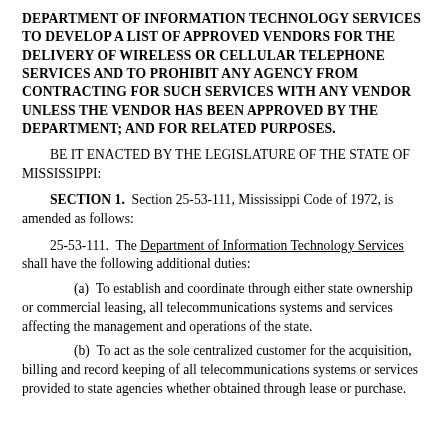DEPARTMENT OF INFORMATION TECHNOLOGY SERVICES TO DEVELOP A LIST OF APPROVED VENDORS FOR THE DELIVERY OF WIRELESS OR CELLULAR TELEPHONE SERVICES AND TO PROHIBIT ANY AGENCY FROM CONTRACTING FOR SUCH SERVICES WITH ANY VENDOR UNLESS THE VENDOR HAS BEEN APPROVED BY THE DEPARTMENT; AND FOR RELATED PURPOSES.
BE IT ENACTED BY THE LEGISLATURE OF THE STATE OF MISSISSIPPI:
SECTION 1. Section 25-53-111, Mississippi Code of 1972, is amended as follows:
25-53-111. The Department of Information Technology Services shall have the following additional duties:
(a) To establish and coordinate through either state ownership or commercial leasing, all telecommunications systems and services affecting the management and operations of the state.
(b) To act as the sole centralized customer for the acquisition, billing and record keeping of all telecommunications systems or services provided to state agencies whether obtained through lease or purchase.